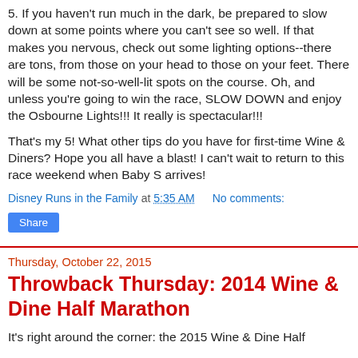5. If you haven't run much in the dark, be prepared to slow down at some points where you can't see so well. If that makes you nervous, check out some lighting options--there are tons, from those on your head to those on your feet. There will be some not-so-well-lit spots on the course. Oh, and unless you're going to win the race, SLOW DOWN and enjoy the Osbourne Lights!!! It really is spectacular!!!
That's my 5! What other tips do you have for first-time Wine & Diners? Hope you all have a blast! I can't wait to return to this race weekend when Baby S arrives!
Disney Runs in the Family at 5:35 AM    No comments:
Share
Thursday, October 22, 2015
Throwback Thursday: 2014 Wine & Dine Half Marathon
It's right around the corner: the 2015 Wine & Dine Half